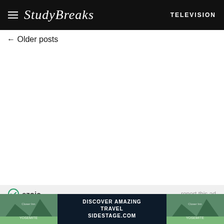Study Breaks — TELEVISION
← Older posts
[Figure (logo): Ezoic logo with circular checkmark icon and text 'ezoic']
report this ad
1. Hotel Reservations
[Figure (photo): Travel advertisement showing mountain landscape (Yosemite) with text: DISCOVER AMAZING TRAVEL SIDESTAGE.COM]